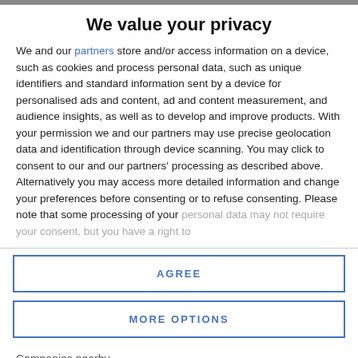We value your privacy
We and our partners store and/or access information on a device, such as cookies and process personal data, such as unique identifiers and standard information sent by a device for personalised ads and content, ad and content measurement, and audience insights, as well as to develop and improve products. With your permission we and our partners may use precise geolocation data and identification through device scanning. You may click to consent to our and our partners' processing as described above. Alternatively you may access more detailed information and change your preferences before consenting or to refuse consenting. Please note that some processing of your personal data may not require your consent, but you have a right to
AGREE
MORE OPTIONS
Companies nearby